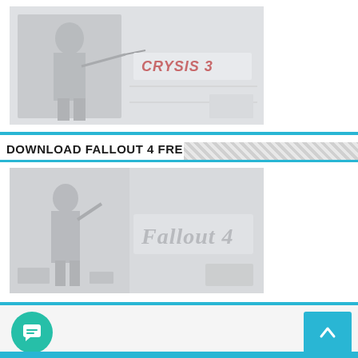[Figure (screenshot): Crysis 3 game cover image showing a warrior with a bow, light grey/faded tones, with CRYSIS 3 logo text visible on the right side]
DOWNLOAD FALLOUT 4 FREE DOWNLOAD
[Figure (screenshot): Fallout 4 game cover image showing a figure in post-apocalyptic setting with Fallout 4 logo text visible on the right side, light grey/faded tones]